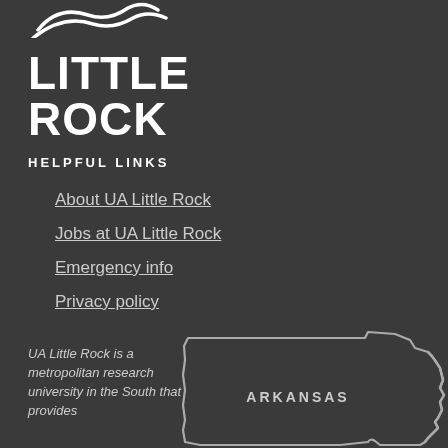[Figure (logo): UA Little Rock university logo with swoosh graphic and bold white text reading LITTLE ROCK]
HELPFUL LINKS
About UA Little Rock
Jobs at UA Little Rock
Emergency info
Privacy policy
UA Little Rock is a metropolitan research university in the South that provides
[Figure (map): Outline map of Arkansas state with label ARKANSAS]